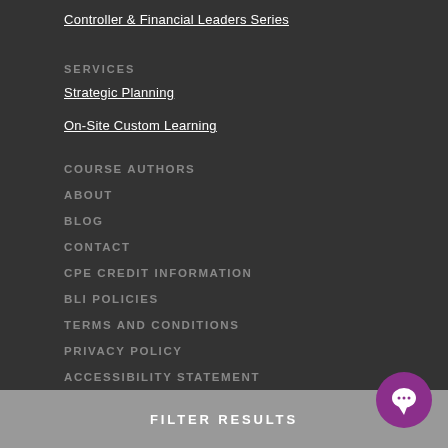Controller & Financial Leaders Series
SERVICES
Strategic Planning
On-Site Custom Learning
COURSE AUTHORS
ABOUT
BLOG
CONTACT
CPE CREDIT INFORMATION
BLI POLICIES
TERMS AND CONDITIONS
PRIVACY POLICY
ACCESSIBILITY STATEMENT
FILTER RESULTS